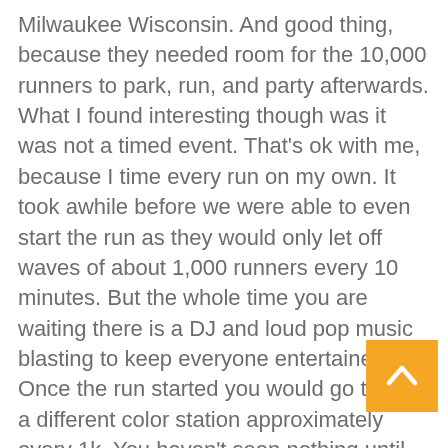Milwaukee Wisconsin. And good thing, because they needed room for the 10,000 runners to park, run, and party afterwards. What I found interesting though was it was not a timed event. That’s ok with me, because I time every run on my own. It took awhile before we were able to even start the run as they would only let off waves of about 1,000 runners every 10 minutes. But the whole time you are waiting there is a DJ and loud pop music blasting to keep everyone entertained. Once the run started you would go though a different color station approximately every 1k. You haven’t seen nothing until you’ve seen the approaching colorful cloud. It was just too cool. I wish I would have taken pictures during the run, but I was too focused on the actual run. I did take some video though as I ran through one of the color stations. Like I expected, I did not run this complete event. But I did run most of stopped to walk only twice. Once for a big uphill and the other because the patch narrowed to go under
[Figure (other): Orange/yellow back-to-top button with upward chevron arrow in bottom right corner]